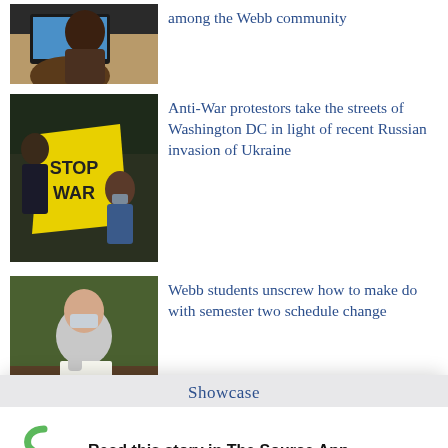[Figure (photo): Top partial photo: student at desk with laptop, cropped at top]
among the Webb community
[Figure (photo): Anti-war protest photo: person holding yellow STOP WAR sign, child in background]
Anti-War protestors take the streets of Washington DC in light of recent Russian invasion of Ukraine
[Figure (photo): Student looking at paper labeled 'schedule', wearing mask, outdoors]
Webb students unscrew how to make do with semester two schedule change
Showcase
[Figure (logo): Student News Source logo - green S with text]
Read this story in The Source App...